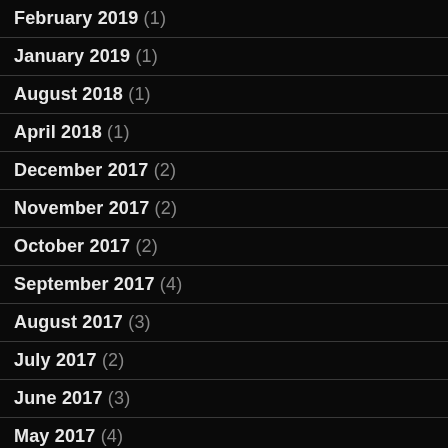February 2019 (1)
January 2019 (1)
August 2018 (1)
April 2018 (1)
December 2017 (2)
November 2017 (2)
October 2017 (2)
September 2017 (4)
August 2017 (3)
July 2017 (2)
June 2017 (3)
May 2017 (4)
April 2017 (3)